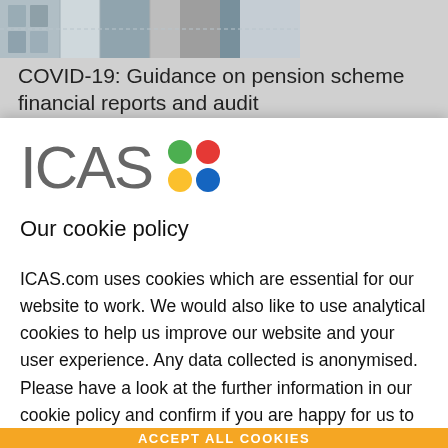[Figure (photo): Partial photo of a building with glass/window elements, shown behind a gray banner area]
COVID-19: Guidance on pension scheme financial reports and audit
[Figure (logo): ICAS logo — the letters ICAS in gray with four colored dots (green, red, yellow, blue) arranged in a 2x2 grid]
Our cookie policy
ICAS.com uses cookies which are essential for our website to work. We would also like to use analytical cookies to help us improve our website and your user experience. Any data collected is anonymised. Please have a look at the further information in our cookie policy and confirm if you are happy for us to use analytical cookies: